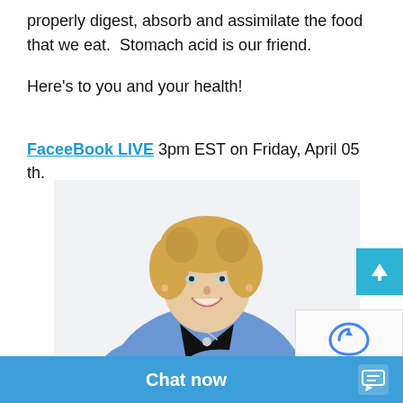properly digest, absorb and assimilate the food that we eat.  Stomach acid is our friend.
Here's to you and your health!
FaceeBook LIVE 3pm EST on Friday, April 05 th.
[Figure (photo): Professional woman with blonde curly hair wearing a blue blazer over a black top, arms crossed, smiling at the camera.]
Chat now